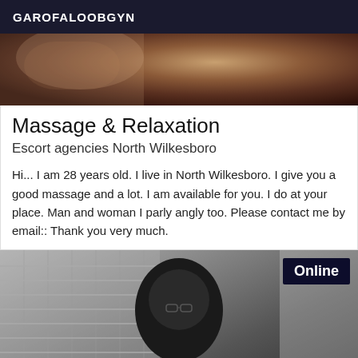GAROFALOOBGYN
[Figure (photo): Close-up photo of a person, warm brown tones, partial body/hair visible]
Massage & Relaxation
Escort agencies North Wilkesboro
Hi... I am 28 years old. I live in North Wilkesboro. I give you a good massage and a lot. I am available for you. I do at your place. Man and woman I parly angly too. Please contact me by email:: Thank you very much.
[Figure (photo): Person taking a mirror selfie, window blinds visible in background, dark hair, wearing glasses, indoor setting. 'Online' badge in top right corner.]